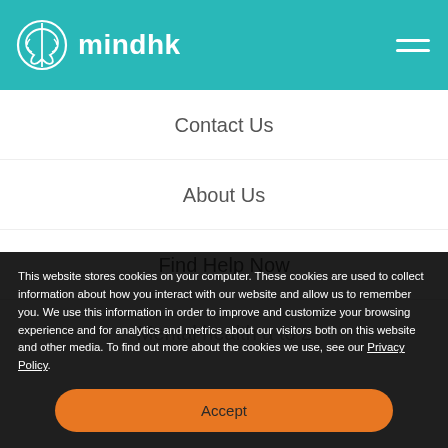mindhk
Contact Us
About Us
Find Help Now
Mental health a to z
This website stores cookies on your computer. These cookies are used to collect information about how you interact with our website and allow us to remember you. We use this information in order to improve and customize your browsing experience and for analytics and metrics about our visitors both on this website and other media. To find out more about the cookies we use, see our Privacy Policy.
Accept